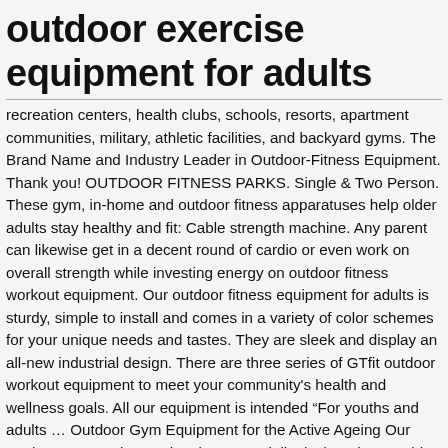outdoor exercise equipment for adults
recreation centers, health clubs, schools, resorts, apartment communities, military, athletic facilities, and backyard gyms. The Brand Name and Industry Leader in Outdoor-Fitness Equipment. Thank you! OUTDOOR FITNESS PARKS. Single & Two Person. These gym, in-home and outdoor fitness apparatuses help older adults stay healthy and fit: Cable strength machine. Any parent can likewise get in a decent round of cardio or even work on overall strength while investing energy on outdoor fitness workout equipment. Our outdoor fitness equipment for adults is sturdy, simple to install and comes in a variety of color schemes for your unique needs and tastes. They are sleek and display an all-new industrial design. There are three series of GTfit outdoor workout equipment to meet your community's health and wellness goals. All our equipment is intended “For youths and adults … Outdoor Gym Equipment for the Active Ageing Our outdoor gym equipment has been specially designed to provide low impact exercise options for older people to keep active, fit and to provide a … The T-Rex is great for individual and group fitness bootcamp style workouts. Customize the look of your design to suit your venue, gym or park preferences. Most